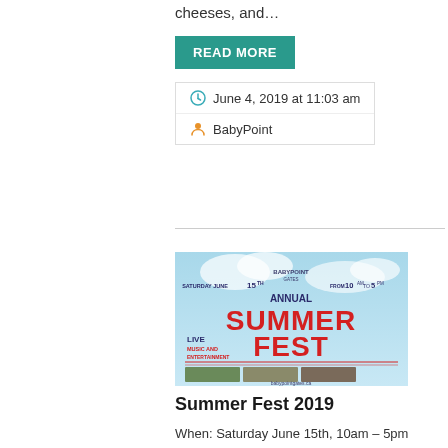cheeses, and...
READ MORE
June 4, 2019 at 11:03 am
BabyPoint
[Figure (photo): Summer Fest 2019 event poster for Baby Point Gates Annual Summer Fest, Saturday June 15th from 10am to 5pm, featuring live music and entertainment, with photos of people at the event.]
Summer Fest 2019
When: Saturday June 15th, 10am – 5pm Where: Baby Point Gates BIA What: Sidewalk